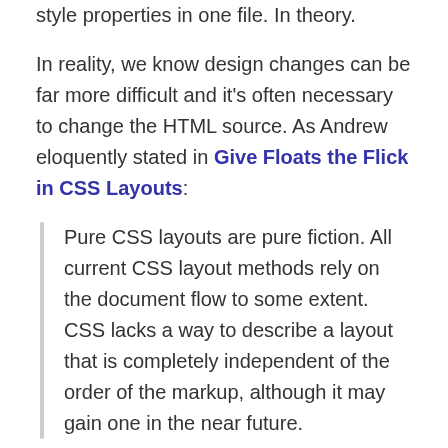Elements could be rearranged by changing a few style properties in one file. In theory.
In reality, we know design changes can be far more difficult and it's often necessary to change the HTML source. As Andrew eloquently stated in Give Floats the Flick in CSS Layouts:
Pure CSS layouts are pure fiction. All current CSS layout methods rely on the document flow to some extent. CSS lacks a way to describe a layout that is completely independent of the order of the markup, although it may gain one in the near future.